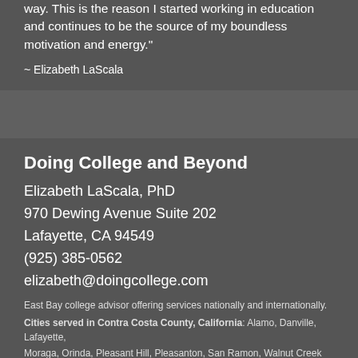way. This is the reason I started working in education and continues to be the source of my boundless motivation and energy."
~ Elizabeth LaScala
Doing College and Beyond
Elizabeth LaScala, PhD
970 Dewing Avenue Suite 202
Lafayette, CA 94549
(925) 385-0562
elizabeth@doingcollege.com
East Bay college advisor offering services nationally and internationally.
Cities served in Contra Costa County, California: Alamo, Danville, Lafayette,
Moraga, Orinda, Pleasant Hill, Pleasanton, San Ramon, Walnut Creek
Cities Served in the greater California area: Berkeley, Los Angeles, Oakland